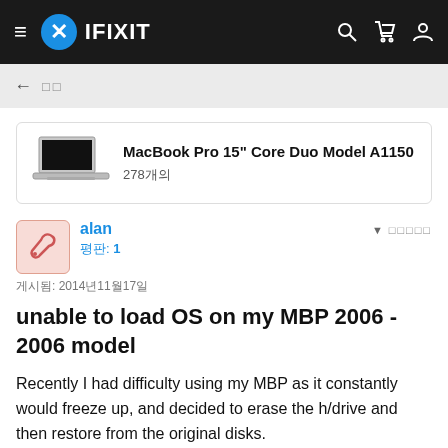IFIXIT
[Figure (screenshot): MacBook Pro laptop product image]
MacBook Pro 15" Core Duo Model A1150
278개의
alan
평판: 1
게시됨: 2014년11월17일
unable to load OS on my MBP 2006 - 2006 model
Recently I had difficulty using my MBP as it constantly would freeze up, and decided to erase the h/drive and then restore from the original disks.